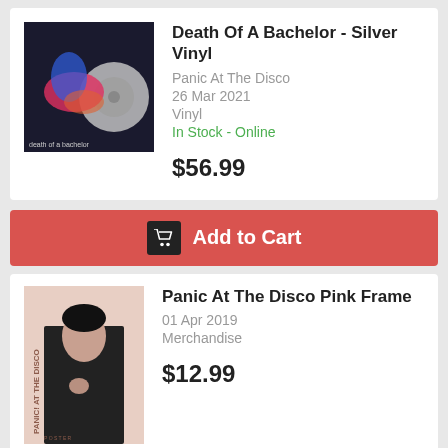[Figure (photo): Album cover for Death Of A Bachelor - Silver Vinyl by Panic At The Disco]
Death Of A Bachelor - Silver Vinyl
Panic At The Disco
26 Mar 2021
Vinyl
In Stock - Online
$56.99
Add to Cart
[Figure (photo): Panic At The Disco Pink Frame merchandise poster]
Panic At The Disco Pink Frame
01 Apr 2019
Merchandise
$12.99